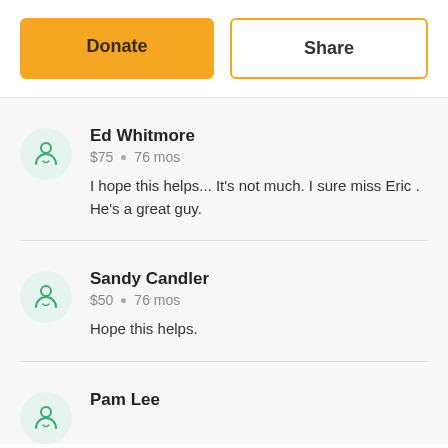[Figure (other): Two action buttons: 'Donate' (orange filled) and 'Share' (white with orange border)]
Ed Whitmore
$75 • 76 mos
I hope this helps... It's not much. I sure miss Eric . He's a great guy.
Sandy Candler
$50 • 76 mos
Hope this helps.
Pam Lee